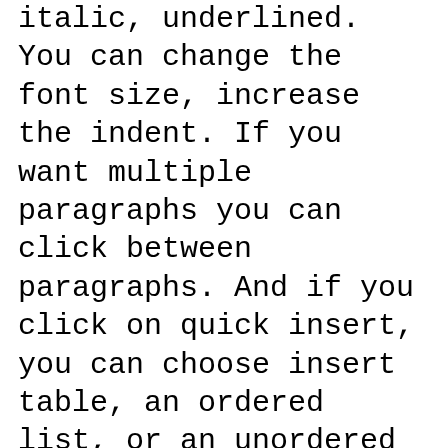italic, underlined. You can change the font size, increase the indent. If you want multiple paragraphs you can click between paragraphs. And if you click on quick insert, you can choose insert table, an ordered list, or an unordered list. If we scroll a little bit down you'll see that here is the course content, and you'll see the topics with the lessons in it.
What you can do is click here above a topic and you can create a new lesson. And below it, you can also create new lessons. Click on introduction. Click on edit content. And we will now edit icon to editor introduction for this course. You will see that the lesson is built out of